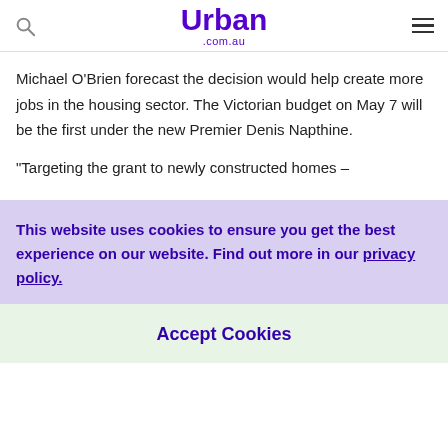Urban .com.au
Michael O'Brien forecast the decision would help create more jobs in the housing sector. The Victorian budget on May 7 will be the first under the new Premier Denis Napthine.
"Targeting the grant to newly constructed homes –
This website uses cookies to ensure you get the best experience on our website. Find out more in our privacy policy.
Accept Cookies